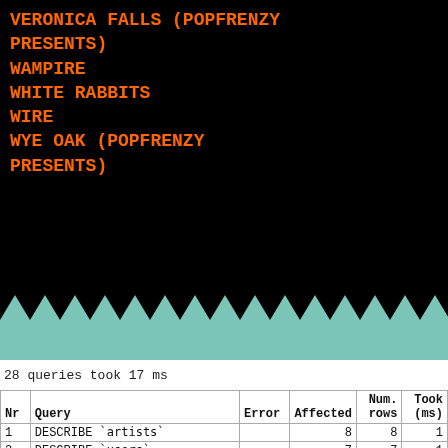VERONICA FALLS (POPFRENZY PRESENTS)
WAMPIRE
WHITE RABBITS
WIRE
WYE OAK (POPFRENZY PRESENTS)
28 queries took 17 ms
| Nr | Query | Error | Affected | Num. rows | Took (ms) |
| --- | --- | --- | --- | --- | --- |
| 1 | DESCRIBE `artists` |  | 8 | 8 | 1 |
| 2 | DESCRIBE `users` |  | 7 | 7 | 1 |
| 3 | DESCRIBE `presents` |  | 10 | 10 | 1 |
| 4 | DESCRIBE `tour_dates` |  | 14 | 14 | 1 |
| 5 | DESCRIBE `records` |  | 13 | 13 | 1 |
| 6 | DESCRIBE `reviews` |  | 12 | 12 | 1 |
| 7 | DESCRIBE `headlines` |  | 10 | 10 | 1 |
| 8 | DESCRIBE `media` |  | 11 | 11 | 1 |
| 9 | DESCRIBE `audioplayer` |  | 4 | 4 | 1 |
| 10 | DESCRIBE `photos` |  | 8 | 8 | 1 |
| 11 | DESCRIBE `links` |  | 7 | 7 | 1 |
| 12 | SELECT `Artist`.`id`, |  | 1 | 1 | 1 |